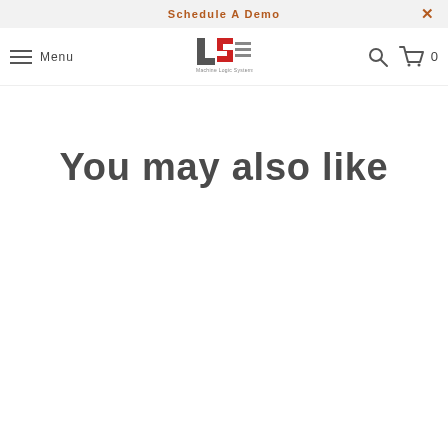Schedule A Demo
[Figure (logo): Machine Logic Systems logo with 'ls' letters in red and grey, with full company name below]
You may also like